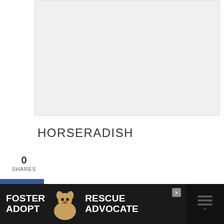[Figure (photo): Image placeholder area (gray background) at top of page]
HORSERADISH
0
SHARES
We mostly know horseradish as the condiment found in jars that pairs perfectly with roast beef but this root can be planted in your garden.
Plant the root in your garden and it will
[Figure (infographic): Advertisement banner at bottom: dark background with FOSTER ADOPT / RESCUE ADVOCATE text, dog image, close button, and additional icons]